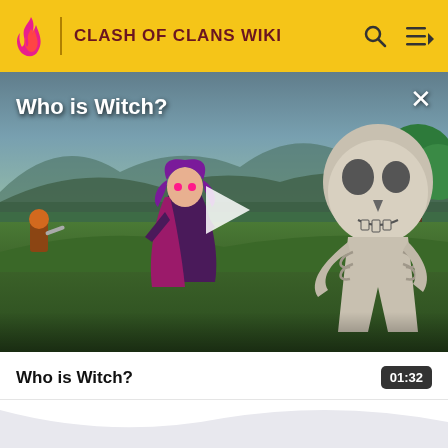CLASH OF CLANS WIKI
[Figure (screenshot): Video thumbnail showing Clash of Clans characters including a Witch (purple-haired female character) and a Skeleton on a grassy field. A play button is visible in the center. Title text reads 'Who is Witch?' and a close (X) button is in the top right.]
Who is Witch?
01:32
MORE INFORMATION